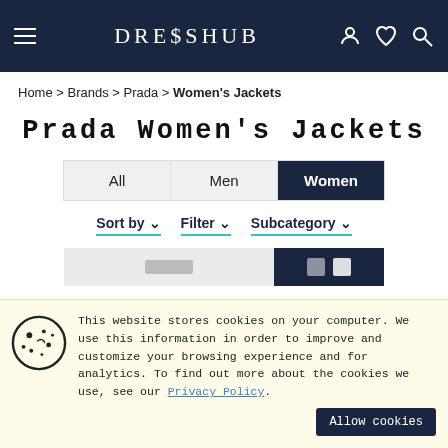DRESSHUB
Home > Brands > Prada > Women's Jackets
Prada Women's Jackets
All | Men | Women (active)
Sort by   Filter   Subcategory
61 Products
This website stores cookies on your computer. We use this information in order to improve and customize your browsing experience and for analytics. To find out more about the cookies we use, see our Privacy Policy.